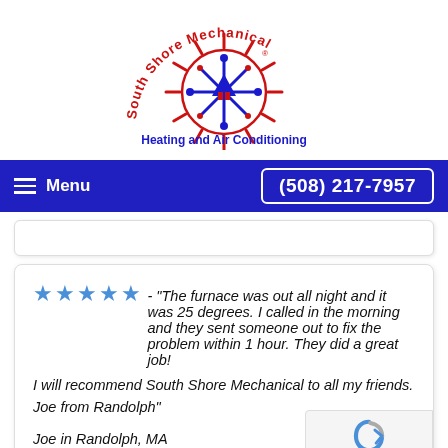[Figure (logo): South Shore Mechanical logo — circular snowflake/sun emblem in red and blue with red arched text 'South Shore Mechanical' and blue tagline 'Heating and Air Conditioning']
≡  Menu                  (508) 217-7957
★★★★★ - "The furnace was out all night and it was 25 degrees. I called in the morning and they sent someone out to fix the problem within 1 hour. They did a great job!
I will recommend South Shore Mechanical to all my friends.
Joe from Randolph"

Joe in Randolph, MA